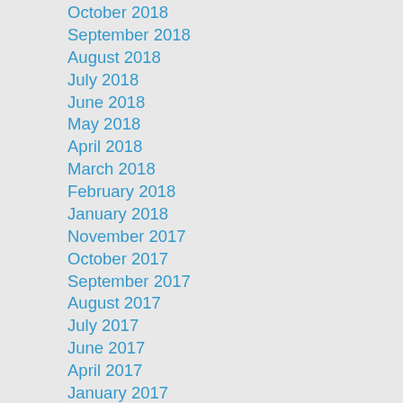October 2018
September 2018
August 2018
July 2018
June 2018
May 2018
April 2018
March 2018
February 2018
January 2018
November 2017
October 2017
September 2017
August 2017
July 2017
June 2017
April 2017
January 2017
December 2016
November 2016
October 2016